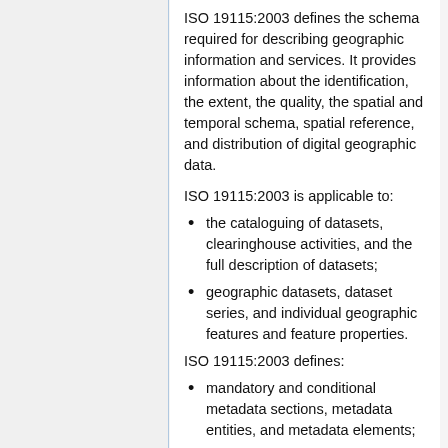ISO 19115:2003 defines the schema required for describing geographic information and services. It provides information about the identification, the extent, the quality, the spatial and temporal schema, spatial reference, and distribution of digital geographic data.
ISO 19115:2003 is applicable to:
the cataloguing of datasets, clearinghouse activities, and the full description of datasets;
geographic datasets, dataset series, and individual geographic features and feature properties.
ISO 19115:2003 defines:
mandatory and conditional metadata sections, metadata entities, and metadata elements;
the minimum set of metadata